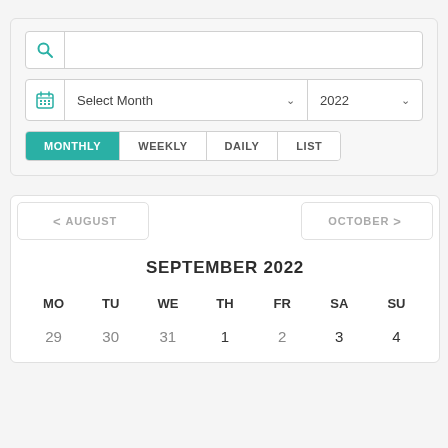[Figure (screenshot): Search input field with teal search icon on the left]
[Figure (screenshot): Date selector with calendar icon, 'Select Month' dropdown and '2022' year dropdown]
[Figure (screenshot): View tabs: MONTHLY (active, teal), WEEKLY, DAILY, LIST]
[Figure (screenshot): Calendar navigation with < AUGUST on left and OCTOBER > on right]
SEPTEMBER 2022
| MO | TU | WE | TH | FR | SA | SU |
| --- | --- | --- | --- | --- | --- | --- |
| 29 | 30 | 31 | 1 | 2 | 3 | 4 |